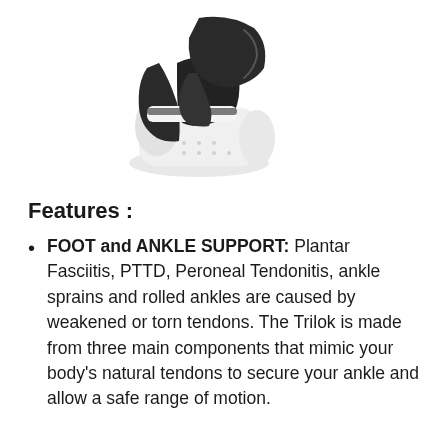[Figure (photo): A black and white ankle brace/support worn on a foot with a white athletic sock, shown from the side.]
Features :
FOOT and ANKLE SUPPORT: Plantar Fasciitis, PTTD, Peroneal Tendonitis, ankle sprains and rolled ankles are caused by weakened or torn tendons. The Trilok is made from three main components that mimic your body's natural tendons to secure your ankle and allow a safe range of motion.